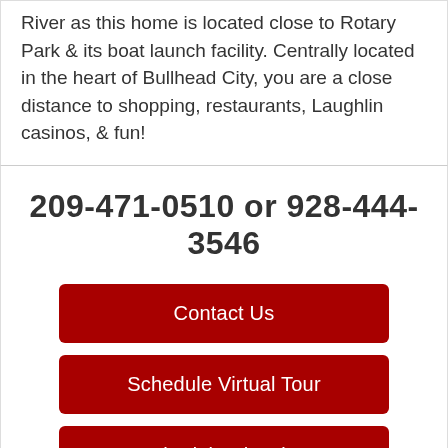River as this home is located close to Rotary Park & its boat launch facility. Centrally located in the heart of Bullhead City, you are a close distance to shopping, restaurants, Laughlin casinos, & fun!
209-471-0510 or 928-444-3546
Contact Us
Schedule Virtual Tour
Schedule Showing
Search All Properties